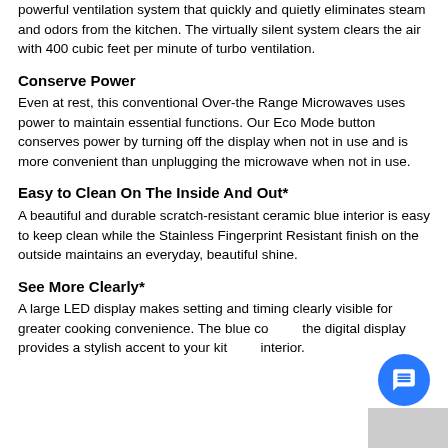powerful ventilation system that quickly and quietly eliminates steam and odors from the kitchen. The virtually silent system clears the air with 400 cubic feet per minute of turbo ventilation.
Conserve Power
Even at rest, this conventional Over-the Range Microwaves uses power to maintain essential functions. Our Eco Mode button conserves power by turning off the display when not in use and is more convenient than unplugging the microwave when not in use.
Easy to Clean On The Inside And Out*
A beautiful and durable scratch-resistant ceramic blue interior is easy to keep clean while the Stainless Fingerprint Resistant finish on the outside maintains an everyday, beautiful shine.
See More Clearly*
A large LED display makes setting and timing clearly visible for greater cooking convenience. The blue color of the digital display provides a stylish accent to your kitchen interior.